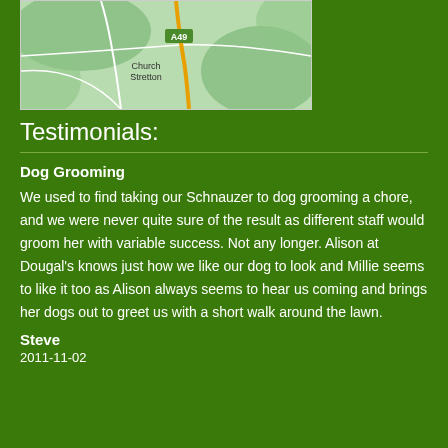[Figure (map): Google Maps style map showing Church Stretton area with A49 road marked in yellow/orange on green terrain background]
Testimonials:
Dog Grooming
We used to find taking our Schnauzer to dog grooming a chore, and we were never quite sure of the result as different staff would groom her with variable success. Not any longer. Alison at Dougal's knows just how we like our dog to look and Millie seems to like it too as Alison always seems to hear us coming and brings her dogs out to greet us with a short walk around the lawn.
Steve
2011-11-02